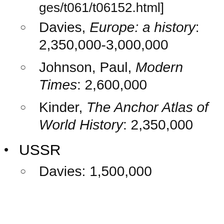ges/t061/t06152.html]
Davies, Europe: a history: 2,350,000-3,000,000
Johnson, Paul, Modern Times: 2,600,000
Kinder, The Anchor Atlas of World History: 2,350,000
USSR
Davies: 1,500,000